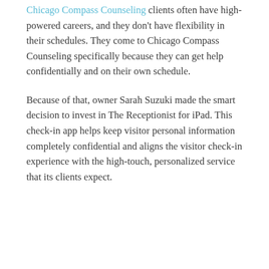Chicago Compass Counseling clients often have high-powered careers, and they don't have flexibility in their schedules. They come to Chicago Compass Counseling specifically because they can get help confidentially and on their own schedule.
Because of that, owner Sarah Suzuki made the smart decision to invest in The Receptionist for iPad. This check-in app helps keep visitor personal information completely confidential and aligns the visitor check-in experience with the high-touch, personalized service that its clients expect.